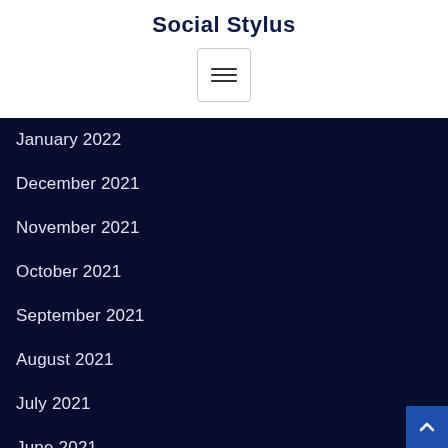Social Stylus
[Figure (other): Hamburger menu button icon with three horizontal lines]
January 2022
December 2021
November 2021
October 2021
September 2021
August 2021
July 2021
June 2021
May 2021